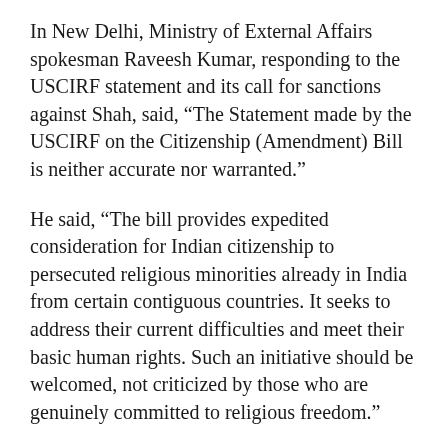In New Delhi, Ministry of External Affairs spokesman Raveesh Kumar, responding to the USCIRF statement and its call for sanctions against Shah, said, “The Statement made by the USCIRF on the Citizenship (Amendment) Bill is neither accurate nor warranted.”
He said, “The bill provides expedited consideration for Indian citizenship to persecuted religious minorities already in India from certain contiguous countries. It seeks to address their current difficulties and meet their basic human rights. Such an initiative should be welcomed, not criticized by those who are genuinely committed to religious freedom.”
Kumar added, “The CAB does not affect the existing avenues available to all communities interested in seeking citizenship from doing so. The recent record of granting such citizenship would bear out the Government of India’s objectivity in that regard.”